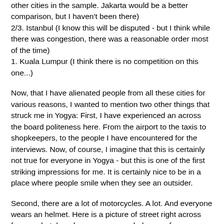other cities in the sample. Jakarta would be a better comparison, but I haven't been there)
2/3. Istanbul (I know this will be disputed - but I think while there was congestion, there was a reasonable order most of the time)
1. Kuala Lumpur (I think there is no competition on this one...)
Now, that I have alienated people from all these cities for various reasons, I wanted to mention two other things that struck me in Yogya: First, I have experienced an across the board politeness here. From the airport to the taxis to shopkeepers, to the people I have encountered for the interviews. Now, of course, I imagine that this is certainly not true for everyone in Yogya - but this is one of the first striking impressions for me. It is certainly nice to be in a place where people smile when they see an outsider.
Second, there are a lot of motorcycles. A lot. And everyone wears an helmet. Here is a picture of street right across from my hotel, and you can see a whole row of motorcycles with helmets on top.